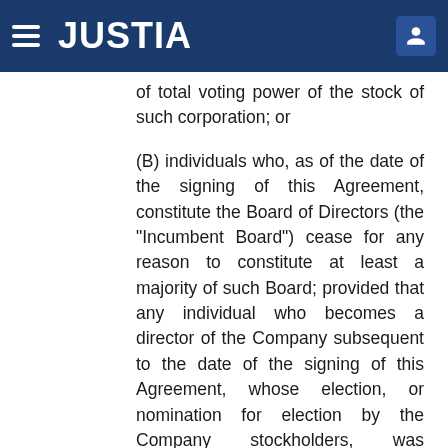JUSTIA
of total voting power of the stock of such corporation; or
(B) individuals who, as of the date of the signing of this Agreement, constitute the Board of Directors (the "Incumbent Board") cease for any reason to constitute at least a majority of such Board; provided that any individual who becomes a director of the Company subsequent to the date of the signing of this Agreement, whose election, or nomination for election by the Company stockholders, was approved by the vote of at least a majority of the directors then in office shall be deemed a member of the